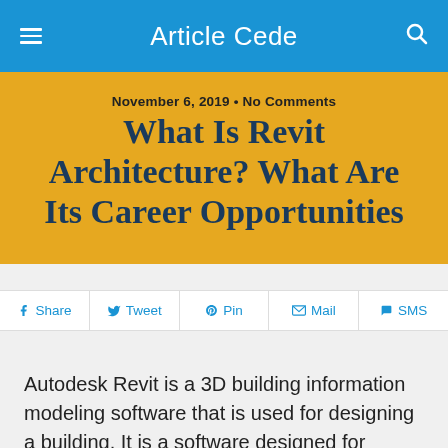Article Cede
November 6, 2019 • No Comments
What Is Revit Architecture? What Are Its Career Opportunities
Share  Tweet  Pin  Mail  SMS
Autodesk Revit is a 3D building information modeling software that is used for designing a building. It is a software designed for landscape architects, mechanical, electrical, and plumbing (MEP) engineers, architects, structural engineers, designers and